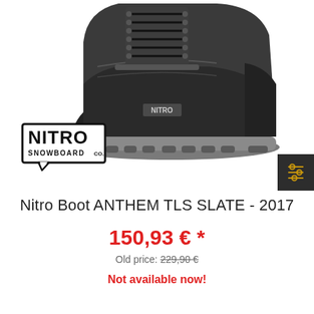[Figure (photo): Nitro snowboard boot ANTHEM TLS SLATE 2017, dark grey/black color, shown from the side, with grey rubber sole and laces.]
[Figure (logo): NITRO SNOWBOARD CO. logo in a speech bubble box shape, black and white.]
[Figure (other): Dark filter/settings button icon with yellow sliders on dark background, positioned at right edge.]
Nitro Boot ANTHEM TLS SLATE - 2017
150,93 € *
Old price: 229,90 €
Not available now!